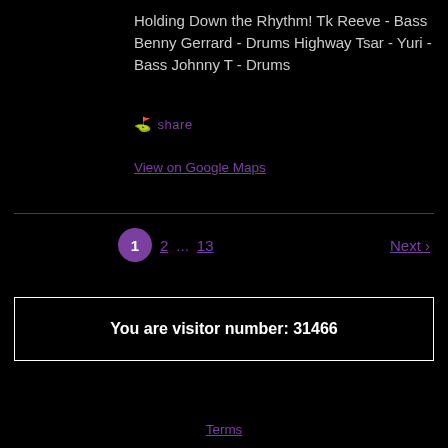Holding Down the Rhythm! Tk Reeve - Bass Benny Gerrard - Drums Highway Tsar - Yuri - Bass Johnny T - Drums
share
View on Google Maps
1 2 ... 13 Next ›
You are visitor number: 31466
Terms